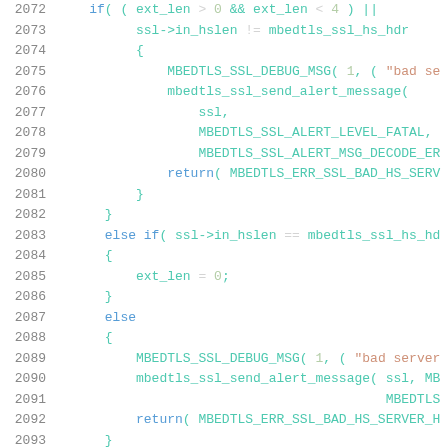[Figure (screenshot): Source code listing in a code editor showing C code lines 2072-2093 for SSL/TLS handshake extension length validation in mbedTLS library]